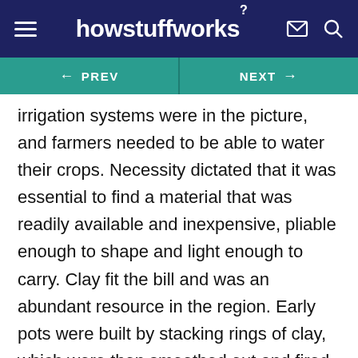howstuffworks
← PREV   NEXT →
irrigation systems were in the picture, and farmers needed to be able to water their crops. Necessity dictated that it was essential to find a material that was readily available and inexpensive, pliable enough to shape and light enough to carry. Clay fit the bill and was an abundant resource in the region. Early pots were built by stacking rings of clay, which were then smoothed out and fired in a hole in the ground, under a bonfire. These pots were undecorated and expendable -- they were created